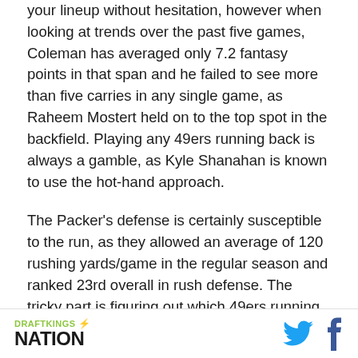your lineup without hesitation, however when looking at trends over the past five games, Coleman has averaged only 7.2 fantasy points in that span and he failed to see more than five carries in any single game, as Raheem Mostert held on to the top spot in the backfield. Playing any 49ers running back is always a gamble, as Kyle Shanahan is known to use the hot-hand approach.
The Packer's defense is certainly susceptible to the run, as they allowed an average of 120 rushing yards/game in the regular season and ranked 23rd overall in rush defense. The tricky part is figuring out which 49ers running back will be favored from week to week, which may make Coleman too much of a
DRAFTKINGS NATION